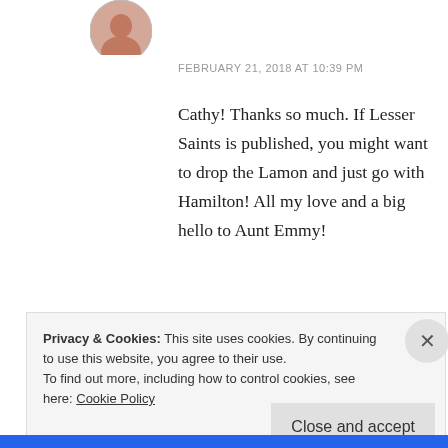[Figure (photo): Circular avatar photo of a woman]
FEBRUARY 21, 2018 AT 10:39 PM
Cathy! Thanks so much. If Lesser Saints is published, you might want to drop the Lamon and just go with Hamilton! All my love and a big hello to Aunt Emmy!
★ Like
REPLY
Privacy & Cookies: This site uses cookies. By continuing to use this website, you agree to their use.
To find out more, including how to control cookies, see here: Cookie Policy
Close and accept